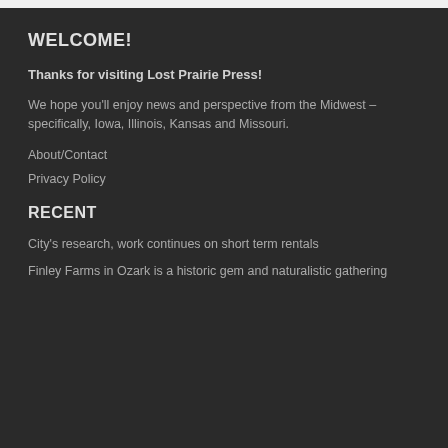WELCOME!
Thanks for visiting Lost Prairie Press!
We hope you'll enjoy news and perspective from the Midwest – specifically, Iowa, Illinois, Kansas and Missouri.
About/Contact
Privacy Policy
RECENT
City's research, work continues on short term rentals
Finley Farms in Ozark is a historic gem and naturalistic gathering